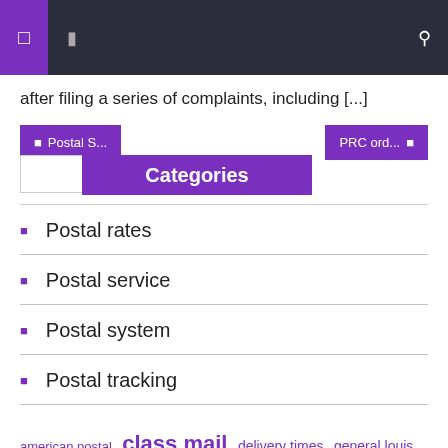Navigation bar with icons
after filing a series of complaints, including [...]
Categories
Postal rates
Postal service
Postal system
Postal tracking
american postal  class mail  delivery times  general louis  holiday season  louis dejoy  mail delivery